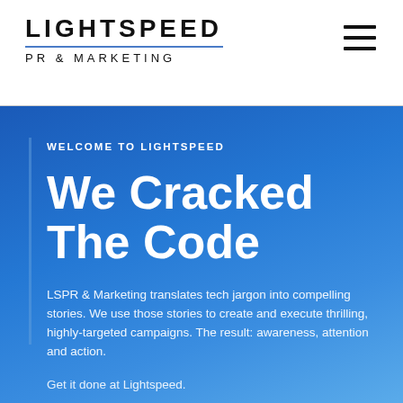LIGHTSPEED PR & MARKETING
WELCOME TO LIGHTSPEED
We Cracked The Code
LSPR & Marketing translates tech jargon into compelling stories. We use those stories to create and execute thrilling, highly-targeted campaigns. The result: awareness, attention and action.
Get it done at Lightspeed.